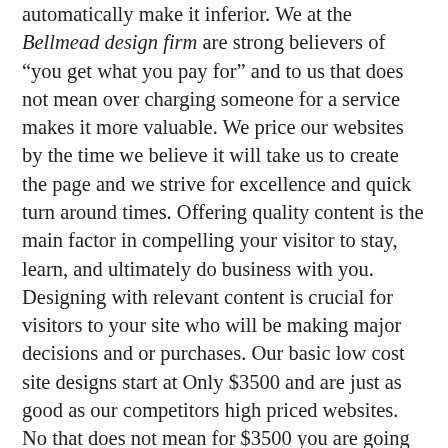automatically make it inferior. We at the Bellmead design firm are strong believers of "you get what you pay for" and to us that does not mean over charging someone for a service makes it more valuable. We price our websites by the time we believe it will take us to create the page and we strive for excellence and quick turn around times. Offering quality content is the main factor in compelling your visitor to stay, learn, and ultimately do business with you. Designing with relevant content is crucial for visitors to your site who will be making major decisions and or purchases. Our basic low cost site designs start at Only $3500 and are just as good as our competitors high priced websites. No that does not mean for $3500 you are going to a website with all the bells and whistles but you will get a solid SEO friendly site that not only looks great but is highly functional – this page. If you need an online shopping cart or Ecommerce website we can do those for you as well, our Ecommerce websites start at only $4000 and of course as anything else goes up from there. There is no limit to what we can create for you but what ever it is let us know and we